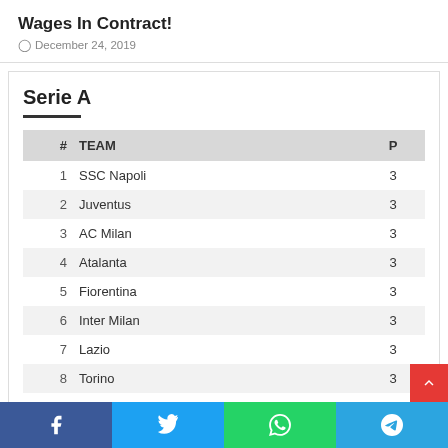Wages In Contract!
December 24, 2019
Serie A
| # | TEAM | P |
| --- | --- | --- |
| 1 | SSC Napoli | 3 |
| 2 | Juventus | 3 |
| 3 | AC Milan | 3 |
| 4 | Atalanta | 3 |
| 5 | Fiorentina | 3 |
| 6 | Inter Milan | 3 |
| 7 | Lazio | 3 |
| 8 | Torino | 3 |
| 9 | Roma | 3 |